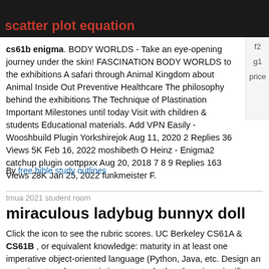scatter plot equation
cs61b enigma. BODY WORLDS - Take an eye-opening journey under the skin! FASCINATION BODY WORLDS to the exhibitions A safari through Animal Kingdom about Animal Inside Out Preventive Healthcare The philosophy behind the exhibitions The Technique of Plastination Important Milestones until today Visit with children & students Educational materials. Add VPN Easily - Wooshbuild Plugin Yorkshirejok Aug 11, 2020 2 Replies 36 Views 5K Feb 16, 2022 moshibeth O Heinz - Enigma2 catchup plugin oottppxx Aug 20, 2018 7 8 9 Replies 163 Views 28K Jan 25, 2022 funkmeister F.
By free bible study outlines
tmua 2021 student room
miraculous ladybug bunnyx doll
Click the icon to see the rubric scores. UC Berkeley CS61A & CS61B , or equivalent knowledge: maturity in at least one imperative object-oriented language (Python, Java, etc. Design an experiment and use statistics to test whether there is a significant difference between two treatment groups. The courses have a particular emphasis on